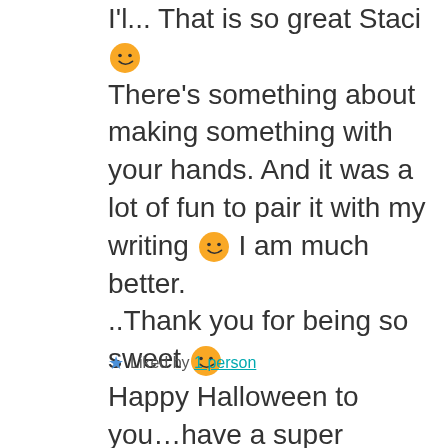I'l... That is so great Staci 🙂 There's something about making something with your hands. And it was a lot of fun to pair it with my writing 🙂 I am much better. ..Thank you for being so sweet 🙂 Happy Halloween to you…have a super weekend and loads of fun creating!! ❤ ❤
★ Liked by 1 person
REPLY